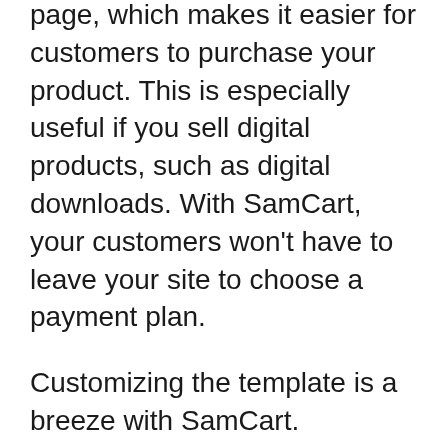page, which makes it easier for customers to purchase your product. This is especially useful if you sell digital products, such as digital downloads. With SamCart, your customers won't have to leave your site to choose a payment plan.
Customizing the template is a breeze with SamCart. SamCart's toolbar makes it easy to modify your store. Simply input the basic information for your products and upload any digital products you'd like to sell. You can customize your checkout pages with custom sections and testimonials. Your customers can pay in various ways, including PayPal, Apple Pay, and Google Pay. You can also set up payment installments and accept payments from a credit card.